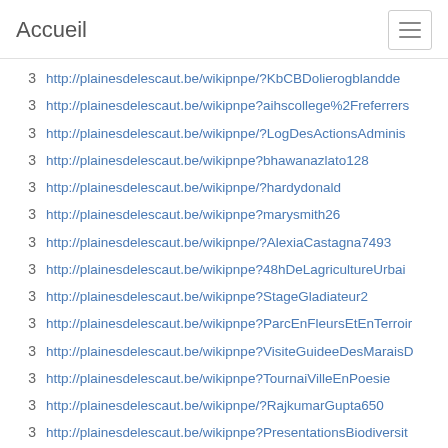Accueil
3  http://plainesdelescaut.be/wikipnpe/?KbCBDolierogblandde
3  http://plainesdelescaut.be/wikipnpe?aihscollege%2Freferrers
3  http://plainesdelescaut.be/wikipnpe/?LogDesActionsAdminis
3  http://plainesdelescaut.be/wikipnpe?bhawanazlato128
3  http://plainesdelescaut.be/wikipnpe/?hardydonald
3  http://plainesdelescaut.be/wikipnpe?marysmith26
3  http://plainesdelescaut.be/wikipnpe/?AlexiaCastagna7493
3  http://plainesdelescaut.be/wikipnpe?48hDeLagricultureUrbai
3  http://plainesdelescaut.be/wikipnpe?StageGladiateur2
3  http://plainesdelescaut.be/wikipnpe?ParcEnFleursEtEnTerroir
3  http://plainesdelescaut.be/wikipnpe?VisiteGuideeDesMaraisD
3  http://plainesdelescaut.be/wikipnpe?TournaiVilleEnPoesie
3  http://plainesdelescaut.be/wikipnpe/?RajkumarGupta650
3  http://plainesdelescaut.be/wikipnpe?PresentationsBiodiversit
3  http://plainesdelescaut.be/wikipnpe?pandamz
3  http://plainesdelescaut.be/wikipnpe?FormationSurLesGestes
3  http://plainesdelescaut.be/wikipnpe?workerscompen
3  http://plainesdelescaut.be/wikipnpe?StageEnfantArtNature
3  http://plainesdelescaut.be/wikipnpe/?LesMercredisDeLaDebr
3  http://plainesdelescaut.be/wikipnpe/?Adler22